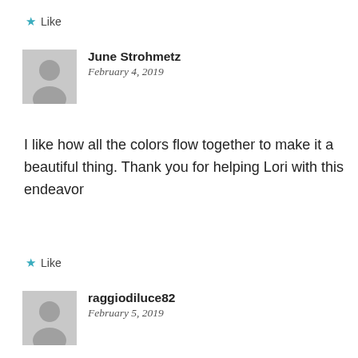★ Like
June Strohmetz
February 4, 2019
I like how all the colors flow together to make it a beautiful thing. Thank you for helping Lori with this endeavor
★ Like
raggiodiluce82
February 5, 2019